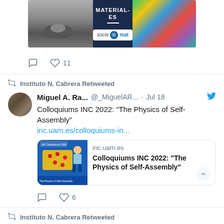[Figure (screenshot): Top portion of a tweet showing image of MATERIAL-ES / sociemat branding with a bird, blue panel, and colorful material texture]
♡ 11
Instituto N. Cabrera Retweeted
Miguel A. Ra... @_MiguelAR... · Jul 18
Colloquiums INC 2022: "The Physics of Self-Assembly" inc.uam.es/colloquiums-in...
[Figure (screenshot): Link preview card for inc.uam.es showing a cartoon figure with a map of Spain covered in yellow puzzle pieces with red dots. Title: Colloquiums INC 2022: The Physics of Self-Assembly]
♡ 6
Instituto N. Cabrera Retweeted
IFEIMAC - Condensed ... @ ... · Jul 4